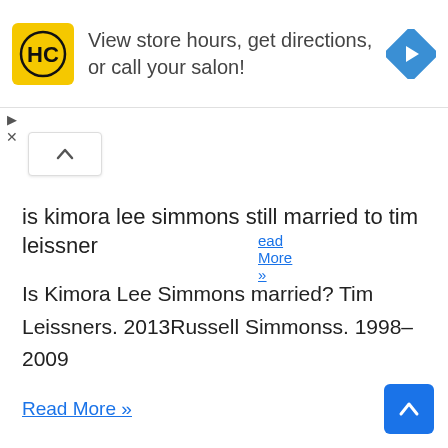[Figure (screenshot): Advertisement banner with HC logo (yellow square with HC letters), text 'View store hours, get directions, or call your salon!', and a blue navigation arrow icon on the right.]
Read More »
is kimora lee simmons still married to tim leissner
Is Kimora Lee Simmons married? Tim Leissners. 2013Russell Simmonss. 1998–2009
Read More »